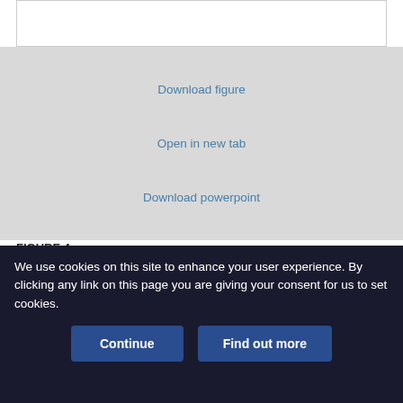[Figure (other): White figure/image placeholder box at top of page]
Download figure
Open in new tab
Download powerpoint
FIGURE 4.
The effect of CD28-mediated costimulation on TRANCE expression on CD3-activated CD4+ and CD8+ T cells. Purified lymph node T cells were cultured as described in Fig. 3 ↑ in the presence or the absence of anti-CD28 mAb (2.5 µg/ml). TRANCE expression was assessed after 72 h of culture. One representative experiment of five is shown.
We use cookies on this site to enhance your user experience. By clicking any link on this page you are giving your consent for us to set cookies.